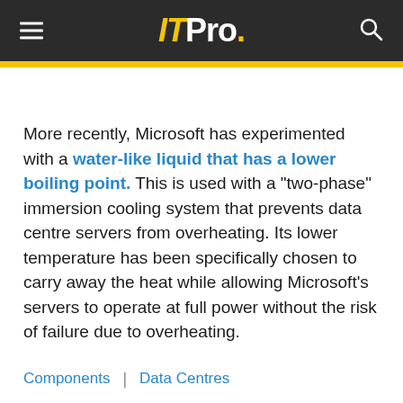IT Pro.
More recently, Microsoft has experimented with a water-like liquid that has a lower boiling point. This is used with a "two-phase" immersion cooling system that prevents data centre servers from overheating. Its lower temperature has been specifically chosen to carry away the heat while allowing Microsoft's servers to operate at full power without the risk of failure due to overheating.
Components | Data Centres